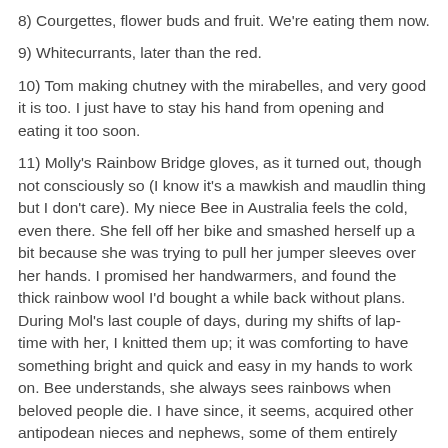8) Courgettes, flower buds and fruit.  We're eating them now.
9) Whitecurrants, later than the red.
10) Tom making chutney with the mirabelles, and very good it is too.  I just have to stay his hand from opening and eating it too soon.
11) Molly's Rainbow Bridge gloves, as it turned out, though not consciously so (I know it's a mawkish and maudlin thing but I don't care).  My niece Bee in Australia feels the cold, even there.  She fell off her bike and smashed herself up a bit because she was trying to pull her jumper sleeves over her hands. I promised her handwarmers, and found the thick rainbow wool I'd bought a while back without plans. During Mol's last couple of days, during my shifts of lap-time with her, I knitted them up; it was comforting to have something bright and quick and easy in my hands to work on.  Bee understands, she always sees rainbows when beloved people die. I have since, it seems, acquired other antipodean nieces and nephews, some of them entirely honorary and unknown to me, who want pretty mittens made for them.